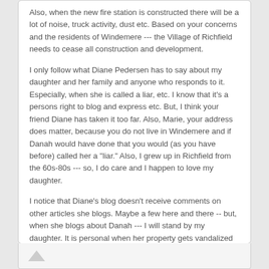Also, when the new fire station is constructed there will be a lot of noise, truck activity, dust etc. Based on your concerns and the residents of Windemere --- the Village of Richfield needs to cease all construction and development.
I only follow what Diane Pedersen has to say about my daughter and her family and anyone who responds to it. Especially, when she is called a liar, etc. I know that it's a persons right to blog and express etc. But, I think your friend Diane has taken it too far. Also, Marie, your address does matter, because you do not live in Windemere and if Danah would have done that you would (as you have before) called her a "liar." Also, I grew up in Richfield from the 60s-80s --- so, I do care and I happen to love my daughter.
I notice that Diane's blog doesn't receive comments on other articles she blogs. Maybe a few here and there -- but, when she blogs about Danah --- I will stand by my daughter. It is personal when her property gets vandalized and when drones watch the activity. It's personal ...